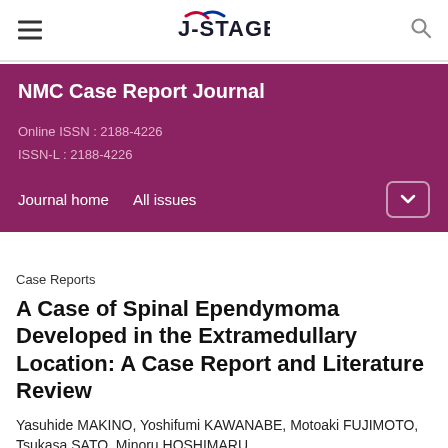J-STAGE
NMC Case Report Journal
Online ISSN : 2188-4226
ISSN-L : 2188-4226
Journal home    All issues
Case Reports
A Case of Spinal Ependymoma Developed in the Extramedullary Location: A Case Report and Literature Review
Yasuhide MAKINO, Yoshifumi KAWANABE, Motoaki FUJIMOTO, Tsukasa SATO, Minoru HOSHIMARU
+ Author information